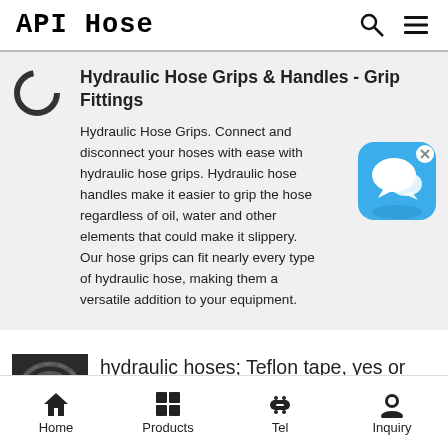API Hose
Hydraulic Hose Grips & Handles - Grip Fittings
Hydraulic Hose Grips. Connect and disconnect your hoses with ease with hydraulic hose grips. Hydraulic hose handles make it easier to grip the hose regardless of oil, water and other elements that could make it slippery. Our hose grips can fit nearly every type of hydraulic hose, making them a versatile addition to your equipment.
[Figure (illustration): Chat bubble app icon - blue rounded square with white speech bubbles]
[Figure (photo): Photo of hydraulic hoses coiled up]
hydraulic hoses; Teflon tape, yes or no? | Tractor Forum
Home  Products  Tel  Inquiry